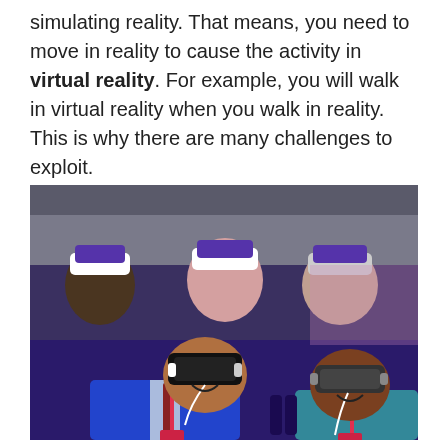simulating reality. That means, you need to move in reality to cause the activity in virtual reality. For example, you will walk in virtual reality when you walk in reality. This is why there are many challenges to exploit.
[Figure (photo): A group of people sitting in seats wearing VR headsets (Samsung Gear VR style), smiling and experiencing virtual reality. The foreground shows a man in a blue suit and a person in a teal shirt, both wearing VR headsets and smiling. Background shows more people with VR headsets.]